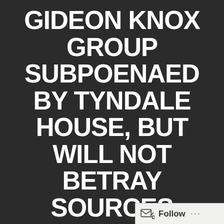GIDEON KNOX GROUP SUBPOENAED BY TYNDALE HOUSE, BUT WILL NOT BETRAY SOURCES
Shortly before Christmas, Gideon Knox Group publisher, JD Hall, received a subpoena from attorneys representing Tyndale House, regarding a news story published by Gideon Knox publication, Pulpit & Pen in 2015. The subpoena ordered that...